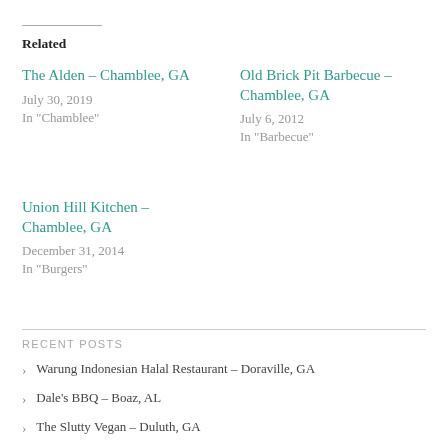Related
The Alden – Chamblee, GA
July 30, 2019
In "Chamblee"
Old Brick Pit Barbecue – Chamblee, GA
July 6, 2012
In "Barbecue"
Union Hill Kitchen – Chamblee, GA
December 31, 2014
In "Burgers"
RECENT POSTS
Warung Indonesian Halal Restaurant – Doraville, GA
Dale's BBQ – Boaz, AL
The Slutty Vegan – Duluth, GA
Birrieria Landeros – Duluth, GA
Girl Diver – Atlanta, GA